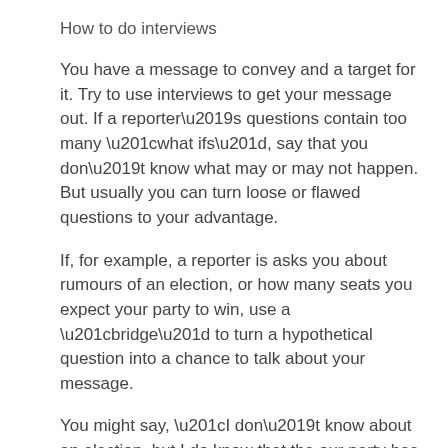How to do interviews
You have a message to convey and a target for it. Try to use interviews to get your message out. If a reporter’s questions contain too many “what ifs”, say that you don’t know what may or may not happen. But usually you can turn loose or flawed questions to your advantage.
If, for example, a reporter is asks you about rumours of an election, or how many seats you expect your party to win, use a “bridge” to turn a hypothetical question into a chance to talk about your message.
You might say, “I don’t know about an election, but I do know that the our party has been trying to make…